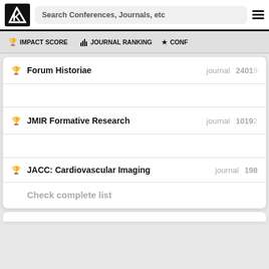Search Conferences, Journals, etc
🏆 IMPACT SCORE   📊 JOURNAL RANKING   ★ CONF…
Forum Historiae — journal  24019
JMIR Formative Research — journal  10192
JACC: Cardiovascular Imaging — journal  198
Check complete list